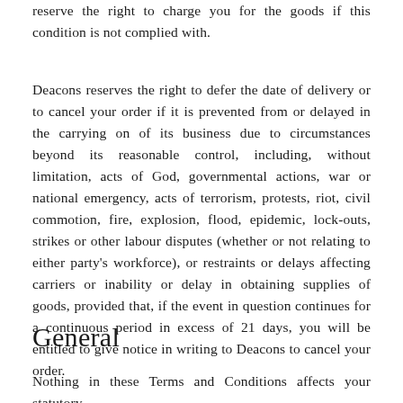reserve the right to charge you for the goods if this condition is not complied with.
Deacons reserves the right to defer the date of delivery or to cancel your order if it is prevented from or delayed in the carrying on of its business due to circumstances beyond its reasonable control, including, without limitation, acts of God, governmental actions, war or national emergency, acts of terrorism, protests, riot, civil commotion, fire, explosion, flood, epidemic, lock-outs, strikes or other labour disputes (whether or not relating to either party's workforce), or restraints or delays affecting carriers or inability or delay in obtaining supplies of goods, provided that, if the event in question continues for a continuous period in excess of 21 days, you will be entitled to give notice in writing to Deacons to cancel your order.
General
Nothing in these Terms and Conditions affects your statutory